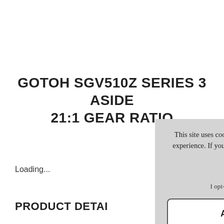GOTOH SGV510Z SERIES 3 ASIDE 21:1 GEAR RATIO
Loading...
PRODUCT DETAI
This site uses cookies to provide and improve your shopping experience. If you want to benefit from this improved service, please opt-in. Cookies Page.
I opt-in to a better browsing experience
ACCEPT COOKIES